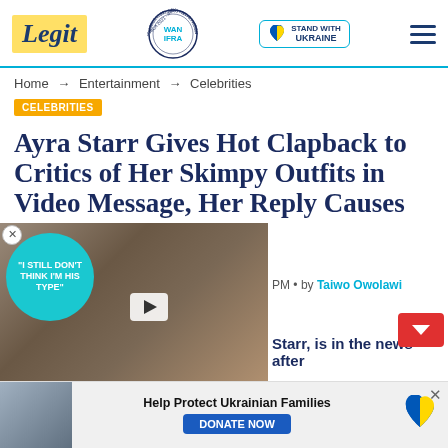Legit | WAN-IFRA 2021 Best News Website in Africa | Stand with Ukraine
Home → Entertainment → Celebrities
CELEBRITIES
Ayra Starr Gives Hot Clapback to Critics of Her Skimpy Outfits in Video Message, Her Reply Causes
[Figure (screenshot): Video thumbnail showing a man in a suit and woman, with a teal circular speech bubble overlay reading 'I STILL DON'T THINK I'M HIS TYPE' and a play button]
by Taiwo Owolawi
Starr, is in the news after
[Figure (photo): Advertisement banner: Help Protect Ukrainian Families - DONATE NOW button, with photo of people and Ukrainian heart logo]